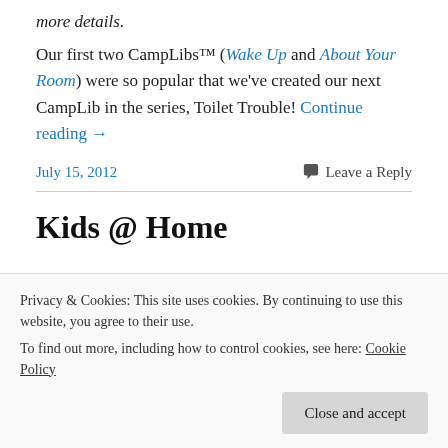more details.
Our first two CampLibs™ (Wake Up and About Your Room) were so popular that we've created our next CampLib in the series, Toilet Trouble! Continue reading →
July 15, 2012
Leave a Reply
Kids @ Home
Privacy & Cookies: This site uses cookies. By continuing to use this website, you agree to their use. To find out more, including how to control cookies, see here: Cookie Policy
Close and accept
My kids came home from camp on Thursday. Each year